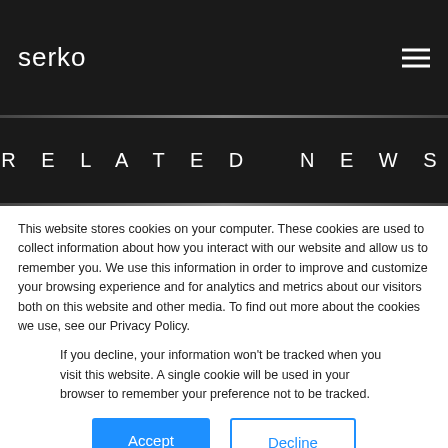serko
RELATED NEWS
This website stores cookies on your computer. These cookies are used to collect information about how you interact with our website and allow us to remember you. We use this information in order to improve and customize your browsing experience and for analytics and metrics about our visitors both on this website and other media. To find out more about the cookies we use, see our Privacy Policy.
If you decline, your information won't be tracked when you visit this website. A single cookie will be used in your browser to remember your preference not to be tracked.
Accept   Decline